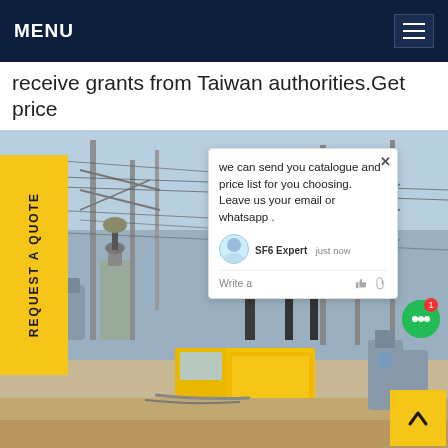MENU
receive grants from Taiwan authorities.Get price
[Figure (photo): Electrical substation with high-voltage equipment, power transformers, transmission towers and lines. A yellow service truck (ISUZU) is parked in the substation yard. Industrial SF6 gas handling equipment visible. Overlay shows a live chat popup from 'SF6 Expert' saying 'we can send you catalogue and price list for you choosing. Leave us your email or whatsapp .']
REQUEST A QUOTE
we can send you catalogue and price list for you choosing. Leave us your email or whatsapp .
SF6 Expert   just now
Write a